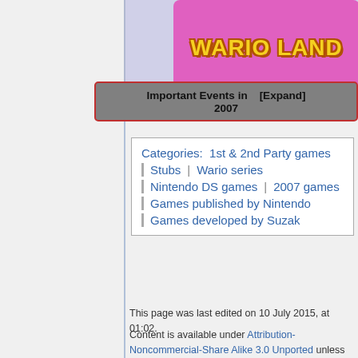[Figure (logo): Wario Land game logo on magenta/pink background with yellow outlined text]
| Important Events in 2007 | [Expand] |
| --- | --- |
Categories: 1st & 2nd Party games | Stubs | Wario series | Nintendo DS games | 2007 games | Games published by Nintendo | Games developed by Suzak
This page was last edited on 10 July 2015, at 01:02.
Content is available under Attribution-Noncommercial-Share Alike 3.0 Unported unless otherwise noted.
Privacy policy   About NintendoWiki   Disclaimers